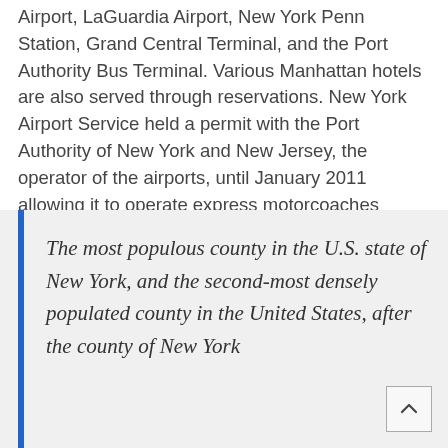Airport, LaGuardia Airport, New York Penn Station, Grand Central Terminal, and the Port Authority Bus Terminal. Various Manhattan hotels are also served through reservations. New York Airport Service held a permit with the Port Authority of New York and New Jersey, the operator of the airports, until January 2011 allowing it to operate express motorcoaches between the airports and Manhattan.
The most populous county in the U.S. state of New York, and the second-most densely populated county in the United States, after the county of New York